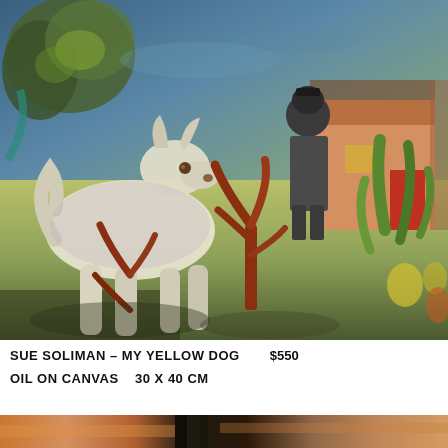[Figure (illustration): Oil painting of a white/yellow dog standing in a yard scene with a dark figure (person) in background, a small tree with red branches, a building/barn with orange walls and red door on the right, blue-green sky with tree foliage on upper left, and green plants/garden on lower right.]
SUE SOLIMAN – MY YELLOW DOG    $550
OIL ON CANVAS    30 X 40 CM
[Figure (illustration): Partial view of another painting at the bottom of the page, showing warm orange and brown tones with dark elements.]